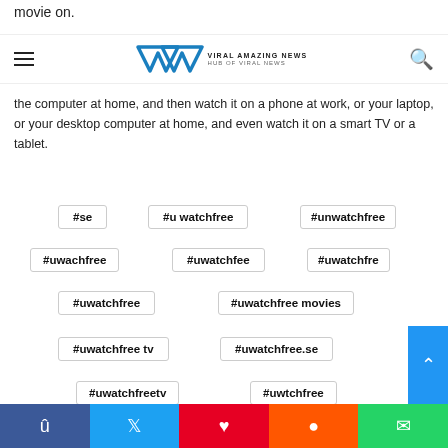movie on.
Viral Amazing News — Hub of Viral News
the computer at home, and then watch it on a phone at work, or your laptop, or your desktop computer at home, and even watch it on a smart TV or a tablet.
#se
#u watchfree
#unwatchfree
#uwachfree
#uwatchfee
#uwatchfre
#uwatchfree
#uwatchfree movies
#uwatchfree tv
#uwatchfree.se
#uwatchfreetv
#uwtchfree
Facebook Twitter Pinterest Reddit WhatsApp